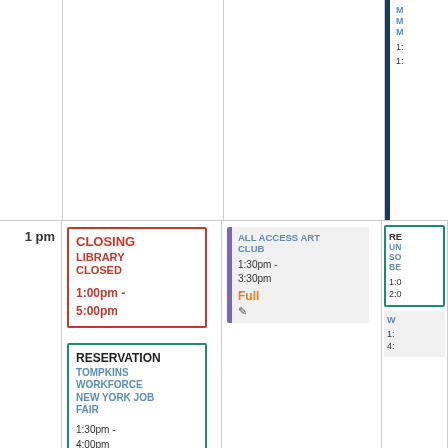[Figure (other): Library calendar grid showing afternoon schedule with events]
1 pm
CLOSING
LIBRARY CLOSED
1:00pm - 5:00pm
ONE-ON-ONE TECH HELP
1:00pm - 2:00pm
Full
TWEEN BOARD GAME CLUB
1:30pm - 3:30pm
RESERVATION
TOMPKINS WORKFORCE NEW YORK JOB FAIR
1:30pm - 4:00pm
ALL ACCESS ART CLUB
1:30pm - 3:30pm
Full
RESERVATION
UN...
SO...
BE...
1:0...
2:0...
W...
1:...
4:...